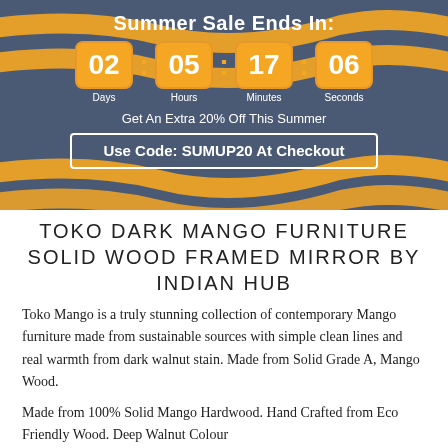Summer Sale Ends In:
[Figure (infographic): Countdown timer showing 02 Days, 05 Hours, 17 Minutes, 06 Seconds with orange digit boxes on dark blue striped background]
Get An Extra 20% Off This Summer
Use Code: SUMUP20 At Checkout
TOKO DARK MANGO FURNITURE SOLID WOOD FRAMED MIRROR BY INDIAN HUB
Toko Mango is a truly stunning collection of contemporary Mango furniture made from sustainable sources with simple clean lines and real warmth from dark walnut stain. Made from Solid Grade A, Mango Wood.
Made from 100% Solid Mango Hardwood. Hand Crafted from Eco Friendly Wood. Deep Walnut Colour